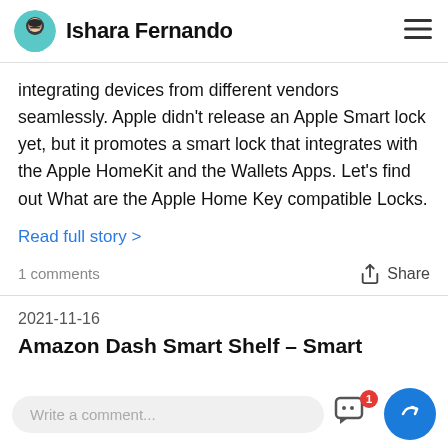Ishara Fernando
integrating devices from different vendors seamlessly. Apple didn't release an Apple Smart lock yet, but it promotes a smart lock that integrates with the Apple HomeKit and the Wallets Apps. Let's find out What are the Apple Home Key compatible Locks.
Read full story >
1 comments   Share
2021-11-16
Amazon Dash Smart Shelf – Smart